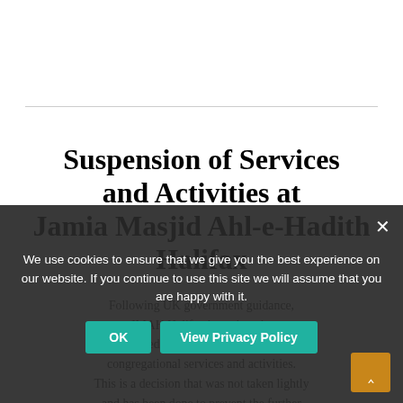Suspension of Services and Activities at Jamia Masjid Ahl-e-Hadith Halifax
Following UK government guidance, JMAH Halifax has taken the unprecedented move to suspend all congregational services and activities. This is a decision that was not taken lightly and has been done to prevent the further spread of the coronavirus in our local community.
Figures show the number of confirmed infections has passed 2,000 with 71 people now having died from Covid-19 in
We use cookies to ensure that we give you the best experience on our website. If you continue to use this site we will assume that you are happy with it.